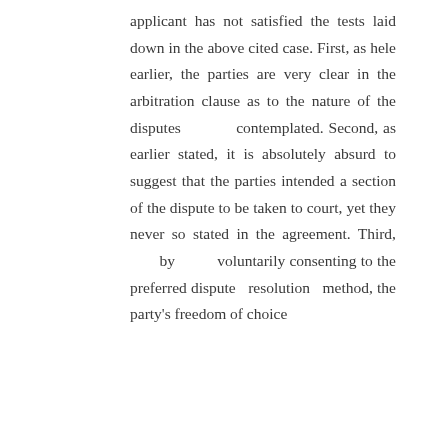applicant has not satisfied the tests laid down in the above cited case. First, as hele earlier, the parties are very clear in the arbitration clause as to the nature of the disputes contemplated. Second, as earlier stated, it is absolutely absurd to suggest that the parties intended a section of the dispute to be taken to court, yet they never so stated in the agreement. Third, by voluntarily consenting to the preferred dispute resolution method, the party's freedom of choice